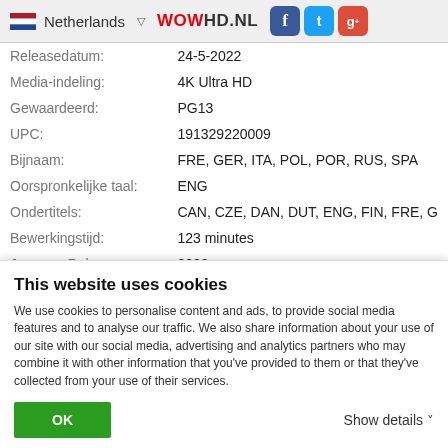Netherlands  ▽  WOWHD.NL  [Facebook] [Twitter] [Google+]
| Releasedatum: | 24-5-2022 |
| Media-indeling: | 4K Ultra HD |
| Gewaardeerd: | PG13 |
| UPC: | 191329220009 |
| Bijnaam: | FRE, GER, ITA, POL, POR, RUS, SPA |
| Oorspronkelijke taal: | ENG |
| Ondertitels: | CAN, CZE, DAN, DUT, ENG, FIN, FRE, G |
| Bewerkingstijd: | 123 minutes |
| Jaar van Release: | 2002 |
Credits
John Levesque ... Phil...
This website uses cookies
We use cookies to personalise content and ads, to provide social media features and to analyse our traffic. We also share information about your use of our site with our social media, advertising and analytics partners who may combine it with other information that you've provided to them or that they've collected from your use of their services.
OK    Show details ▾